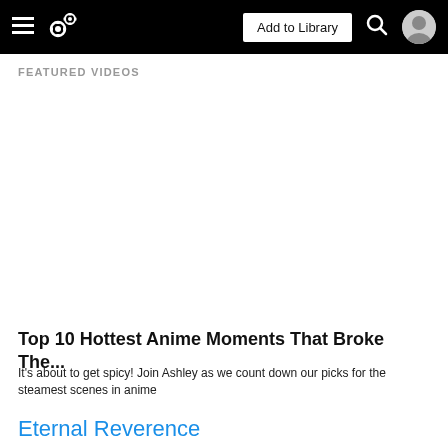Add to Library
FEATURED VIDEOS
[Figure (other): Blank white video thumbnail area for featured video]
Top 10 Hottest Anime Moments That Broke The...
It's about to get spicy! Join Ashley as we count down our picks for the steamest scenes in anime
Eternal Reverence